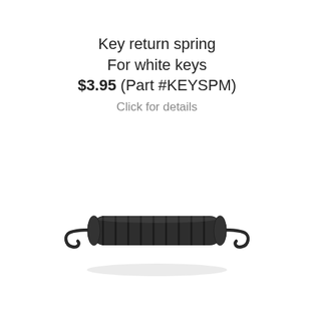Key return spring
For white keys
$3.95 (Part #KEYSPM)
Click for details
[Figure (photo): A small dark metal extension spring with hooked ends, used as a key return spring for white piano keys.]